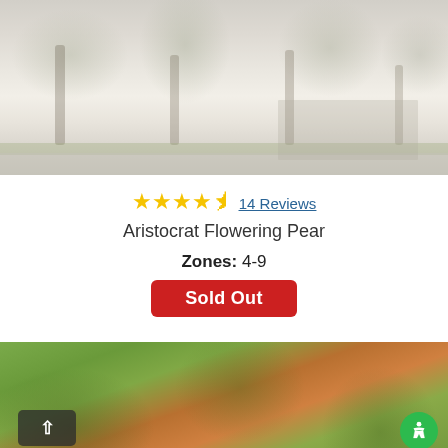[Figure (photo): Outdoor photo of flowering pear trees in bloom along a street or parking area, light gray and white tones with green grass, somewhat faded/washed out appearance]
★★★★½ 14 Reviews
Aristocrat Flowering Pear
Zones: 4-9
Sold Out
[Figure (photo): Close-up photo of leaves and what appears to be orange/red fruit or foliage on a tree branch, green and orange tones]